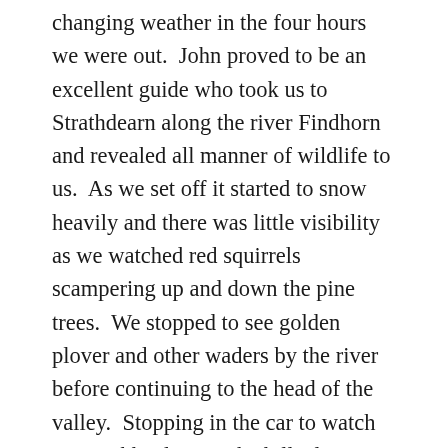changing weather in the four hours we were out.  John proved to be an excellent guide who took us to Strathdearn along the river Findhorn and revealed all manner of wildlife to us.  As we set off it started to snow heavily and there was little visibility as we watched red squirrels scampering up and down the pine trees.  We stopped to see golden plover and other waders by the river before continuing to the head of the valley.  Stopping in the car to watch some sikka deer on the hillside we were entertained by a large horse in the field next to the road that was desperate for some attention.  We wound down the windows to get a better look at the sikka deer and the large working horse insisted on putting its head